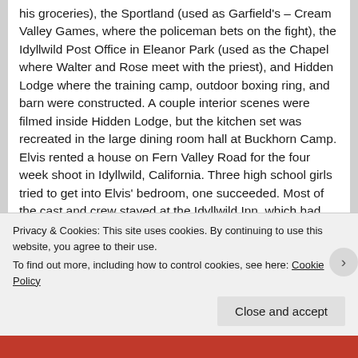his groceries), the Sportland (used as Garfield's – Cream Valley Games, where the policeman bets on the fight), the Idyllwild Post Office in Eleanor Park (used as the Chapel where Walter and Rose meet with the priest), and Hidden Lodge where the training camp, outdoor boxing ring, and barn were constructed. A couple interior scenes were filmed inside Hidden Lodge, but the kitchen set was recreated in the large dining room hall at Buckhorn Camp. Elvis rented a house on Fern Valley Road for the four week shoot in Idyllwild, California. Three high school girls tried to get into Elvis' bedroom, one succeeded. Most of the cast and crew stayed at the Idyllwild Inn, which had rooms, a restaurant and cabins. It can be seen in the
Privacy & Cookies: This site uses cookies. By continuing to use this website, you agree to their use.
To find out more, including how to control cookies, see here: Cookie Policy